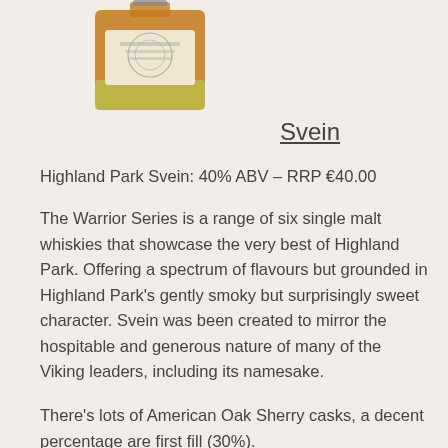[Figure (photo): Bottle of Highland Park Svein whisky, amber-colored liquid visible, white/cream label with embossed design]
Svein
Highland Park Svein: 40% ABV – RRP €40.00
The Warrior Series is a range of six single malt whiskies that showcase the very best of Highland Park. Offering a spectrum of flavours but grounded in Highland Park's gently smoky but surprisingly sweet character. Svein was been created to mirror the hospitable and generous nature of many of the Viking leaders, including its namesake.
There's lots of American Oak Sherry casks, a decent percentage are first fill (30%).
Colour: Light gold